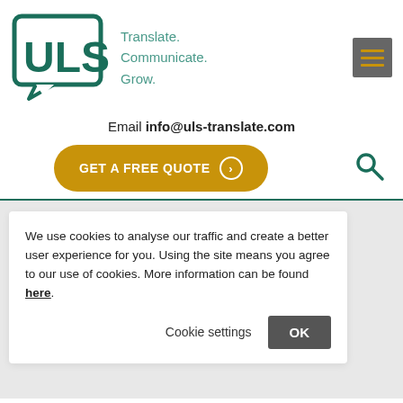[Figure (logo): ULS logo with speech bubble outline containing the letters ULS in dark teal, with tagline 'Translate. Communicate. Grow.' in teal to the right]
[Figure (other): Hamburger menu icon with three horizontal orange lines on a grey square background]
Email info@uls-translate.com
[Figure (other): Gold/amber rounded button with text 'GET A FREE QUOTE' and a circled arrow icon]
[Figure (other): Search magnifier icon in dark teal]
We use cookies to analyse our traffic and create a better user experience for you. Using the site means you agree to our use of cookies. More information can be found here.
Cookie settings
OK